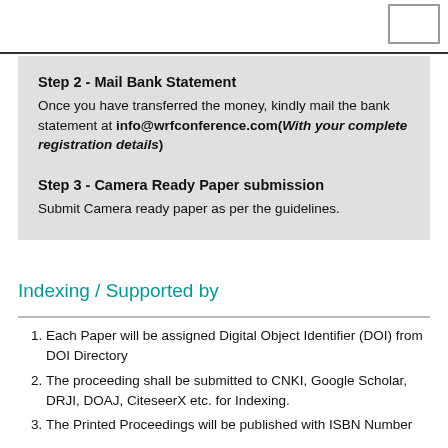Step 2 - Mail Bank Statement
Once you have transferred the money, kindly mail the bank statement at info@wrfconference.com(With your complete registration details)
Step 3 - Camera Ready Paper submission
Submit Camera ready paper as per the guidelines.
Indexing / Supported by
Each Paper will be assigned Digital Object Identifier (DOI) from DOI Directory
The proceeding shall be submitted to CNKI, Google Scholar, DRJI, DOAJ, CiteseerX etc. for Indexing.
The Printed Proceedings will be published with ISBN Number